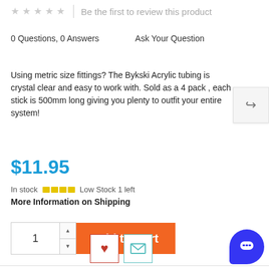★★★★★ | Be the first to review this product
0 Questions, 0 Answers    Ask Your Question
Using metric size fittings? The Bykski Acrylic tubing is crystal clear and easy to work with. Sold as a 4 pack , each stick is 500mm long giving you plenty to outfit your entire system!
$11.95
In stock  Low Stock 1 left
More Information on Shipping
[Figure (screenshot): Add to Cart button with quantity selector showing 1 and orange Add to Cart button]
[Figure (other): Wishlist heart icon button and email/share icon button]
[Figure (other): Blue chat bubble button in bottom right corner]